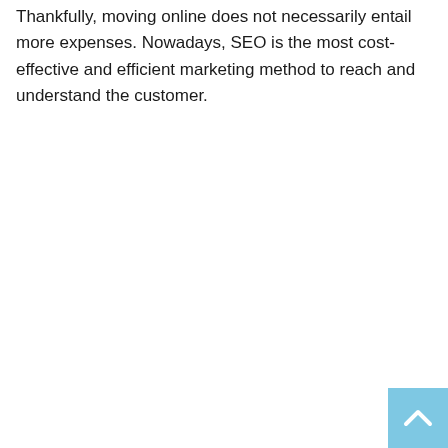Thankfully, moving online does not necessarily entail more expenses. Nowadays, SEO is the most cost-effective and efficient marketing method to reach and understand the customer.
[Figure (other): Back to top button: a light blue square with a white upward-pointing chevron/arrow icon in the bottom-right corner of the page.]